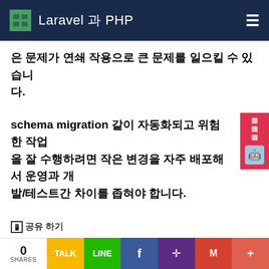Laravel 과 PHP
은 문제가 연쇄 작용으로 큰 문제를 일으킬 수 있습니다.
schema migration 같이 자동화되고 위험한 작업을 잘 수행하려면 작은 변경을 자주 배포해서 운영과 개발/테스트간 차이를 좁혀야 합니다.
공유 하기
0 SHARES